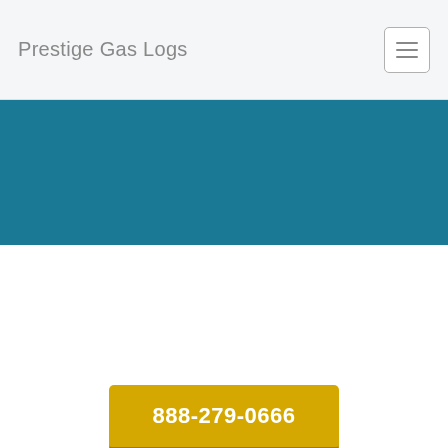Prestige Gas Logs
[Figure (other): Teal/dark cyan colored banner section below the navigation bar]
888-279-0666